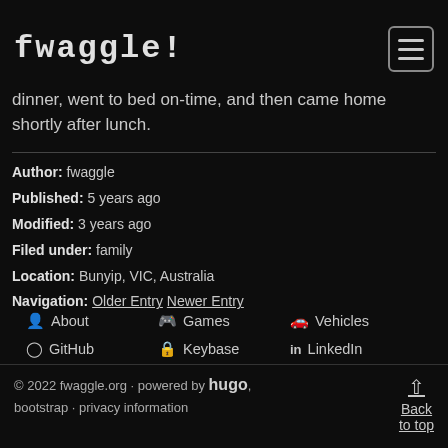fwaggle/
dinner, went to bed on-time, and then came home shortly after lunch.
Author: fwaggle
Published: 5 years ago
Modified: 3 years ago
Filed under: family
Location: Bunyip, VIC, Australia
Navigation: Older Entry Newer Entry
About  Games  Vehicles
GitHub  Keybase  LinkedIn
Twitter  Steam
© 2022 fwaggle.org · powered by hugo, bootstrap · privacy information  Back to top